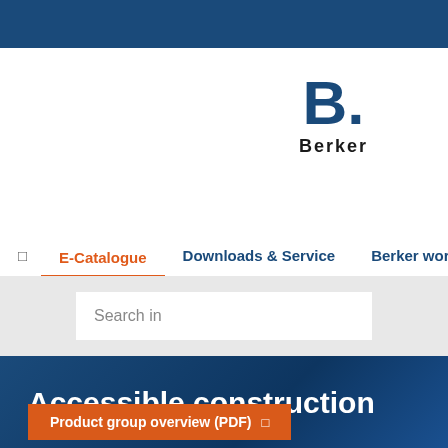[Figure (logo): Berker brand logo: large bold 'B.' in dark blue with 'Berker' text below in black bold lettering]
E-Catalogue  Downloads & Service  Berker world
Search in
Accessible construction
Product group overview (PDF)